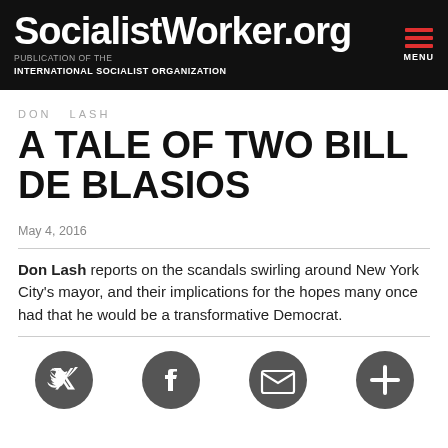SocialistWorker.org — PUBLICATION OF THE INTERNATIONAL SOCIALIST ORGANIZATION — MENU
DON LASH
A TALE OF TWO BILL DE BLASIOS
May 4, 2016
Don Lash reports on the scandals swirling around New York City's mayor, and their implications for the hopes many once had that he would be a transformative Democrat.
[Figure (other): Social media share icons: Twitter, Facebook, Email/envelope, Add/plus buttons]